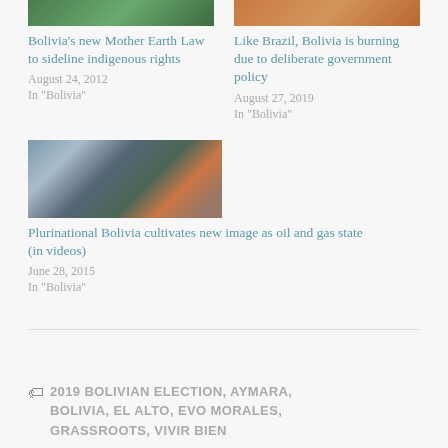[Figure (photo): Partial image at top left, green tones suggesting nature or flag]
[Figure (photo): Partial image at top right, orange/brown tones suggesting fire or burning landscape]
Bolivia's new Mother Earth Law to sideline indigenous rights
August 24, 2012
In "Bolivia"
Like Brazil, Bolivia is burning due to deliberate government policy
August 27, 2019
In "Bolivia"
[Figure (photo): Two men wearing white hard hats, one in blue clothing with flowers/garlands, outdoors with greenery]
Plurinational Bolivia cultivates new image as oil and gas state (in videos)
June 28, 2015
In "Bolivia"
2019 BOLIVIAN ELECTION, AYMARA, BOLIVIA, EL ALTO, EVO MORALES, GRASSROOTS, VIVIR BIEN